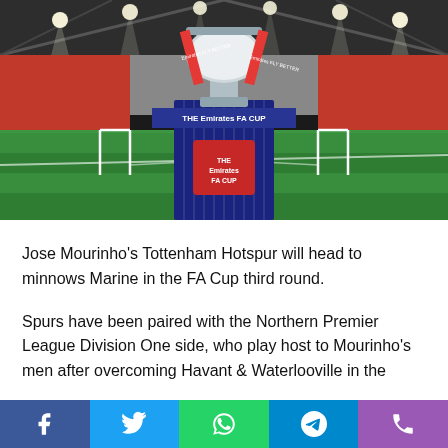[Figure (photo): The Emirates FA Cup trophy displayed on a football pitch at Wembley Stadium, with red ribbons and the Emirates FA Cup pedestal/base visible. Stadium seats filled with orange/red colors in background.]
Jose Mourinho's Tottenham Hotspur will head to minnows Marine in the FA Cup third round.
Spurs have been paired with the Northern Premier League Division One side, who play host to Mourinho's men after overcoming Havant & Waterlooville in the